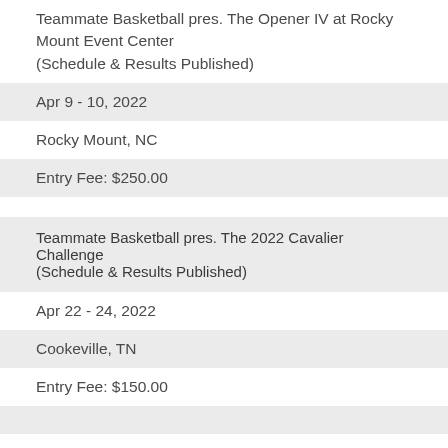Teammate Basketball pres. The Opener IV at Rocky Mount Event Center (Schedule & Results Published)
Apr 9 - 10, 2022
Rocky Mount, NC
Entry Fee: $250.00
Teammate Basketball pres. The 2022 Cavalier Challenge (Schedule & Results Published)
Apr 22 - 24, 2022
Cookeville, TN
Entry Fee: $150.00